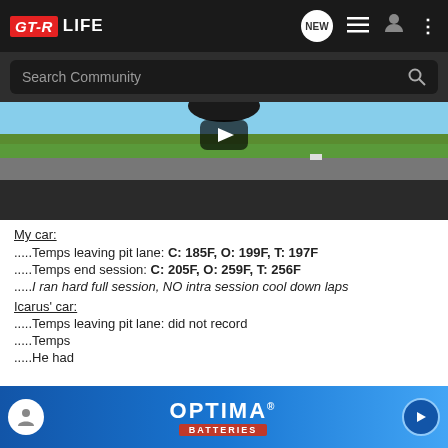GT-R LIFE — navigation bar with search, new messages, list, user, and menu icons
[Figure (screenshot): In-car dashcam video thumbnail showing a race track with road, grass, sky, and a play button overlay]
My car:
.....Temps leaving pit lane: C: 185F, O: 199F, T: 197F
.....Temps end session: C: 205F, O: 259F, T: 256F
.....I ran hard full session, NO intra session cool down laps
Icarus' car:
.....Temps leaving pit lane: did not record
.....Temps
.....He had
[Figure (screenshot): Optima Batteries advertisement banner overlay at the bottom of the screen]